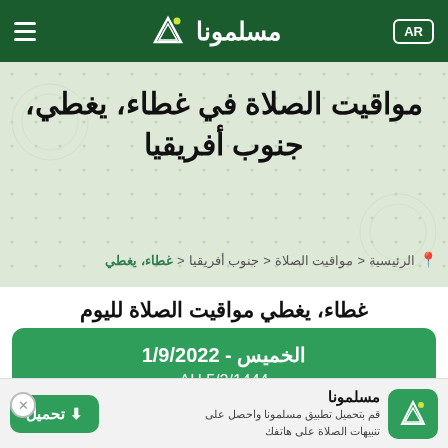مسلمونا | AR
مواقيت الصلاة في غطاء، يغطي، جنوب أفريقيا
الرئيسية > مواقيت الصلاة > جنوب أفريقيا > غطاء، يغطي
غطاء، يغطي مواقيت الصلاة لليوم
الخميس - 1/9/2022
5/2/1444 AH
مسلمونا
قم بتحميل تطبيق مسلمونا واحصل على تنبيهات الصلاة على هاتفك